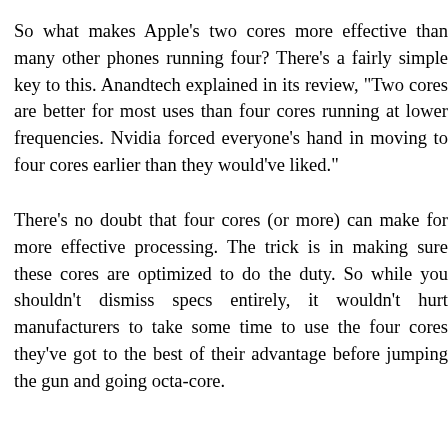So what makes Apple's two cores more effective than many other phones running four? There's a fairly simple key to this. Anandtech explained in its review, "Two cores are better for most uses than four cores running at lower frequencies. Nvidia forced everyone's hand in moving to four cores earlier than they would've liked."
There's no doubt that four cores (or more) can make for more effective processing. The trick is in making sure these cores are optimized to do the duty. So while you shouldn't dismiss specs entirely, it wouldn't hurt manufacturers to take some time to use the four cores they've got to the best of their advantage before jumping the gun and going octa-core.